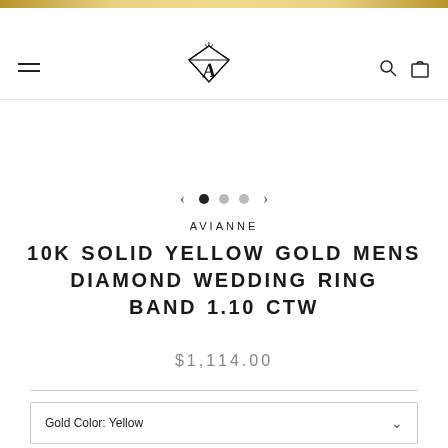[Figure (logo): Avianne jewelers logo — stylized diamond with cursive A letter]
AVIANNE
10K SOLID YELLOW GOLD MENS DIAMOND WEDDING RING BAND 1.10 CTW
$1,114.00
Gold Color: Yellow